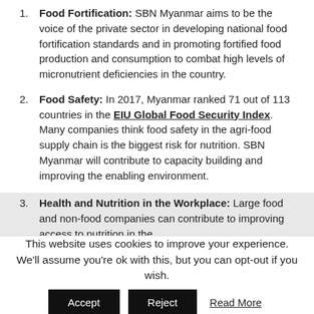Food Fortification: SBN Myanmar aims to be the voice of the private sector in developing national food fortification standards and in promoting fortified food production and consumption to combat high levels of micronutrient deficiencies in the country.
Food Safety: In 2017, Myanmar ranked 71 out of 113 countries in the EIU Global Food Security Index. Many companies think food safety in the agri-food supply chain is the biggest risk for nutrition. SBN Myanmar will contribute to capacity building and improving the enabling environment.
Health and Nutrition in the Workplace: Large food and non-food companies can contribute to improving access to nutrition in the
This website uses cookies to improve your experience. We'll assume you're ok with this, but you can opt-out if you wish.